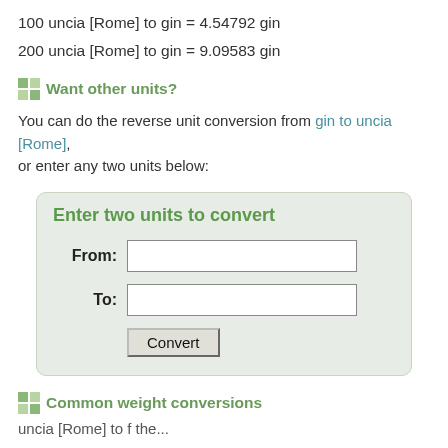100 uncia [Rome] to gin = 4.54792 gin
200 uncia [Rome] to gin = 9.09583 gin
Want other units?
You can do the reverse unit conversion from gin to uncia [Rome], or enter any two units below:
Enter two units to convert
From: [input field]
To: [input field]
Convert [button]
Common weight conversions
uncia [Rome] to f the...